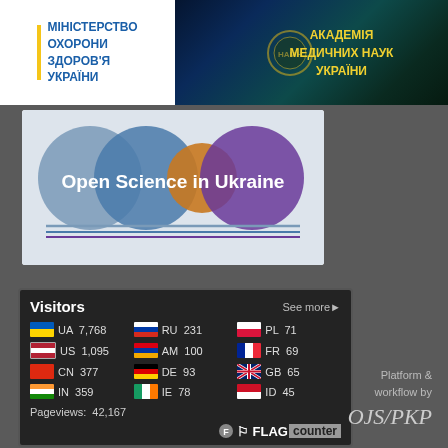[Figure (logo): Ministry of Health of Ukraine logo - white background with blue text in Ukrainian: ЗДОРОВ'Я УКРАЇНИ with yellow vertical bar]
[Figure (logo): National Academy of Medical Sciences of Ukraine - dark teal/blue background with gold emblem and Ukrainian text: АКАДЕМІЯ МЕДИЧНИХ НАУК УКРАЇНИ]
[Figure (logo): Open Science in Ukraine logo - overlapping colored circles (grey-blue, blue, orange, purple) on white background with text 'Open Science in Ukraine']
| Visitors | See more |
| --- | --- |
| UA | 7,768 | RU | 231 | PL | 71 |
| US | 1,095 | AM | 100 | FR | 69 |
| CN | 377 | DE | 93 | GB | 65 |
| IN | 359 | IE | 78 | ID | 45 |
| Pageviews: 42,167 |  |  |  |  |  |
Platform & workflow by OJS/PKP